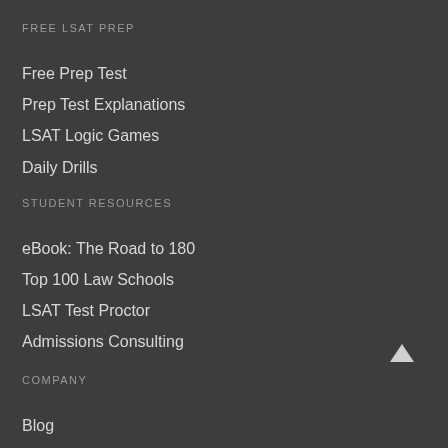FREE LSAT PREP
Free Prep Test
Prep Test Explanations
LSAT Logic Games
Daily Drills
STUDENT RESOURCES
eBook: The Road to 180
Top 100 Law Schools
LSAT Test Proctor
Admissions Consulting
COMPANY
Blog
FAQs
Guarantee